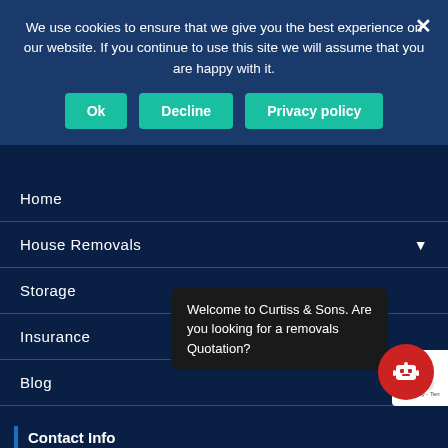We use cookies to ensure that we give you the best experience on our website. If you continue to use this site we will assume that you are happy with it.
Ok
Decline
Privacy policy
Home
House Removals
Storage
Insurance
Blog
About Us
Contact
Locations
Welcome to Curtiss & Sons. Are you looking for a removals Quotation?
Contact Info